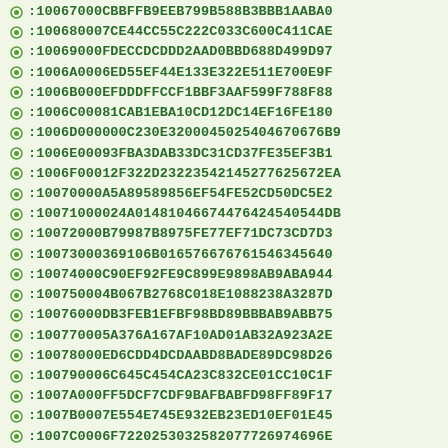:10067000CBBFFB9EEB799B588B3BBB1AABA0
:100680007CE44CC55C222C033C600C411CAE
:10069000FDECCDCDDD2AAD0BBD688D499D97
:1006A0006ED55EF44E133E322E511E700E9F
:1006B000EFDDDFFCCF1BBF3AAF599F788F88
:1006C00081CAB1EBA10CD12DC14EF16FE180
:1006D000000C230E320004502540467067608
:1006E00093FBA3DAB33DC31CD37FE35EF3B1
:1006F00012F322D23233542145277625672EA
:10070000A5A89589856EF54FE52CD50DC5E2
:10071000024A01481046674476424540544DB
:10072000B79987B8975FE77EF71DC73CD7D3
:100730003691068016576676761546345640
:10074000C90EF92FE9C899E9898AB9ABA944
:100750004B067B2768C018E1088238A3287D
:10076000DB3FEB1EFBF98BD89BBBAB9ABB75
:100770005A376A167AF10AD01AB32A923A2E
:10078000ED6CDD4DCDAABD8BADE89DC98D26
:100790006C645C454CA23C832CE01CC10C1F
:1007A000FF5DCF7CDF9BAFBABFD98FF89F17
:1007B0007E554E745E932EB23ED10EF01E45
:1007C0006F72202530325820777269746968
:1007D00064617461120746F20736420636172
:1007E000285230253030258292E0D0A006F6B